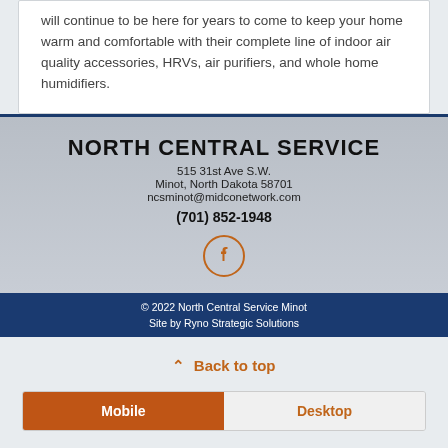will continue to be here for years to come to keep your home warm and comfortable with their complete line of indoor air quality accessories, HRVs, air purifiers, and whole home humidifiers.
NORTH CENTRAL SERVICE
515 31st Ave S.W.
Minot, North Dakota 58701
ncsminot@midconetwork.com
(701) 852-1948
[Figure (logo): Facebook icon in an orange circle]
© 2022 North Central Service Minot
Site by Ryno Strategic Solutions
^ Back to top
Mobile   Desktop